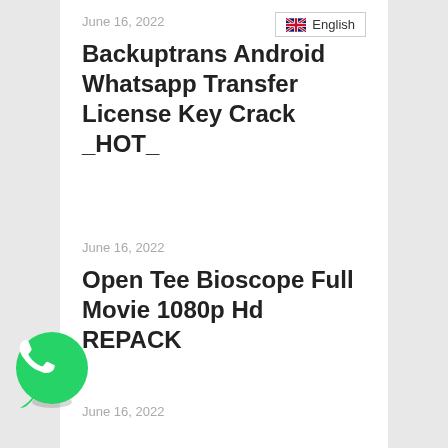June 16, 2022
Backuptrans Android Whatsapp Transfer License Key Crack _HOT_
[Figure (logo): UK flag emoji followed by text 'English' in a bordered badge]
June 16, 2022
Open Tee Bioscope Full Movie 1080p Hd REPACK
[Figure (logo): WhatsApp green circular icon with white phone handset]
June 16, 2022